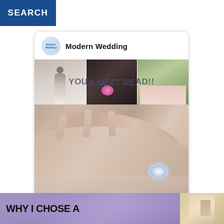SEARCH
[Figure (screenshot): Modern Wedding social media profile card showing logo, brand name 'Modern Wedding', a grid of three wedding photos with overlay text 'YOUR NEXT READ!!', and a large close-up photo of a hand wearing a diamond engagement ring]
[Figure (screenshot): Partial card showing text 'WHY I CHOSE A' with a blurred purple/lavender background image on the left and a warm-toned interior photo on the right]